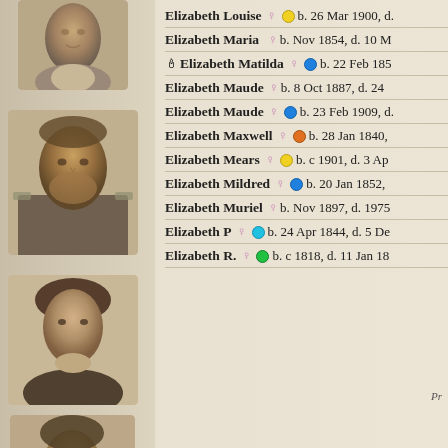[Figure (photo): Sepia portrait photograph of a person, top left]
[Figure (photo): Sepia portrait photograph of a bearded man in military uniform]
[Figure (photo): Sepia portrait photograph of a woman]
[Figure (photo): Sepia portrait photograph of a man with mustache]
[Figure (photo): Partial sepia portrait photograph at bottom]
Elizabeth Louise ♀ ● b. 26 Mar 1900, d.
Elizabeth Maria ♀ b. Nov 1854, d. 10 M
🕯 Elizabeth Matilda ♀ ● b. 22 Feb 185
Elizabeth Maude ♀ b. 8 Oct 1887, d. 24
Elizabeth Maude ♀ ● b. 23 Feb 1909, d.
Elizabeth Maxwell ♀ ● b. 28 Jan 1840,
Elizabeth Mears ♀ ● b. c 1901, d. 3 Ap
Elizabeth Mildred ♀ ● b. 20 Jan 1852,
Elizabeth Muriel ♀ b. Nov 1897, d. 1975
Elizabeth P ♀ ● b. 24 Apr 1844, d. 5 De
Elizabeth R. ♀ ● b. c 1818, d. 11 Jan 18